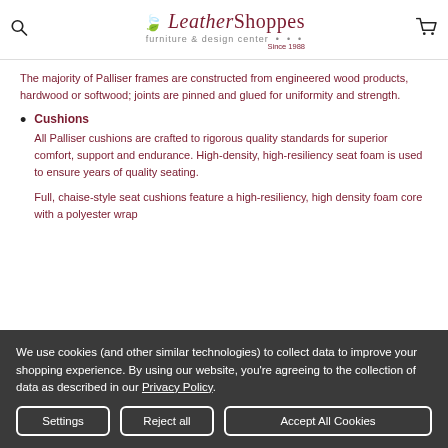LeatherShoppes furniture & design center • • • Since 1988
The majority of Palliser frames are constructed from engineered wood products, hardwood or softwood; joints are pinned and glued for uniformity and strength.
Cushions
All Palliser cushions are crafted to rigorous quality standards for superior comfort, support and endurance. High-density, high-resiliency seat foam is used to ensure years of quality seating.

Full, chaise-style seat cushions feature a high-resiliency, high density foam core with a polyester wrap
We use cookies (and other similar technologies) to collect data to improve your shopping experience. By using our website, you're agreeing to the collection of data as described in our Privacy Policy.